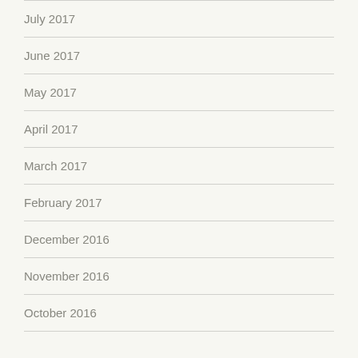July 2017
June 2017
May 2017
April 2017
March 2017
February 2017
December 2016
November 2016
October 2016